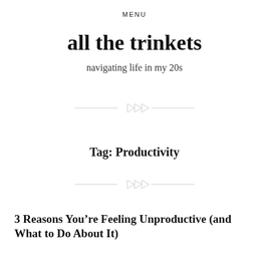MENU
all the trinkets
navigating life in my 20s
[Figure (illustration): Decorative diamond/rhombus ornament divider with horizontal lines on each side]
Tag: Productivity
[Figure (illustration): Decorative diamond/rhombus ornament divider with horizontal lines on each side]
3 Reasons You’re Feeling Unproductive (and What to Do About It)